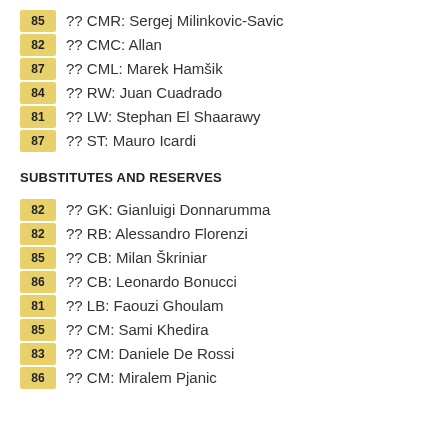85 ?? CMR: Sergej Milinkovic-Savic
82 ?? CMC: Allan
87 ?? CML: Marek Hamšik
84 ?? RW: Juan Cuadrado
81 ?? LW: Stephan El Shaarawy
87 ?? ST: Mauro Icardi
SUBSTITUTES AND RESERVES
82 ?? GK: Gianluigi Donnarumma
82 ?? RB: Alessandro Florenzi
85 ?? CB: Milan Škriniar
86 ?? CB: Leonardo Bonucci
81 ?? LB: Faouzi Ghoulam
85 ?? CM: Sami Khedira
83 ?? CM: Daniele De Rossi
86 ?? CM: Miralem Pjanic